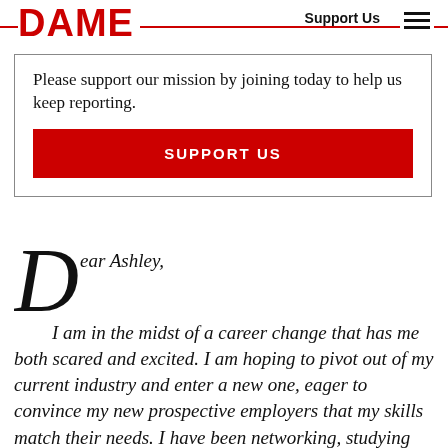DAME  Support Us
Please support our mission by joining today to help us keep reporting.
SUPPORT US
Dear Ashley,

I am in the midst of a career change that has me both scared and excited. I am hoping to pivot out of my current industry and enter a new one, eager to convince my new prospective employers that my skills match their needs. I have been networking, studying these new